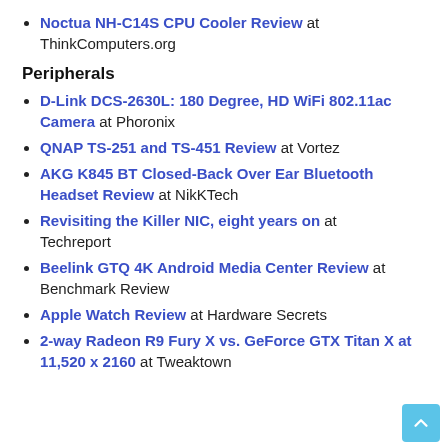Noctua NH-C14S CPU Cooler Review at ThinkComputers.org
Peripherals
D-Link DCS-2630L: 180 Degree, HD WiFi 802.11ac Camera at Phoronix
QNAP TS-251 and TS-451 Review at Vortez
AKG K845 BT Closed-Back Over Ear Bluetooth Headset Review at NikKTech
Revisiting the Killer NIC, eight years on at Techreport
Beelink GTQ 4K Android Media Center Review at Benchmark Review
Apple Watch Review at Hardware Secrets
2-way Radeon R9 Fury X vs. GeForce GTX Titan X at 11,520 x 2160 at Tweaktown